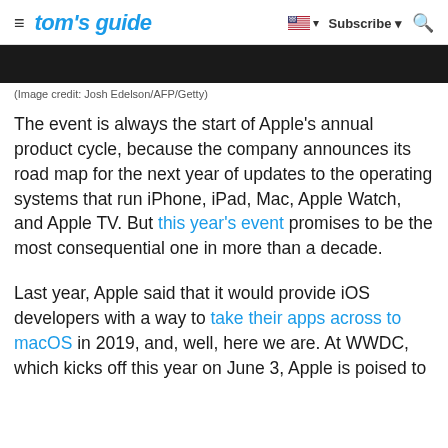tom's guide  |  Subscribe  🔍
[Figure (photo): Dark/black hero image banner, partially visible at top of article]
(Image credit: Josh Edelson/AFP/Getty)
The event is always the start of Apple's annual product cycle, because the company announces its road map for the next year of updates to the operating systems that run iPhone, iPad, Mac, Apple Watch, and Apple TV. But this year's event promises to be the most consequential one in more than a decade.
Last year, Apple said that it would provide iOS developers with a way to take their apps across to macOS in 2019, and, well, here we are. At WWDC, which kicks off this year on June 3, Apple is poised to